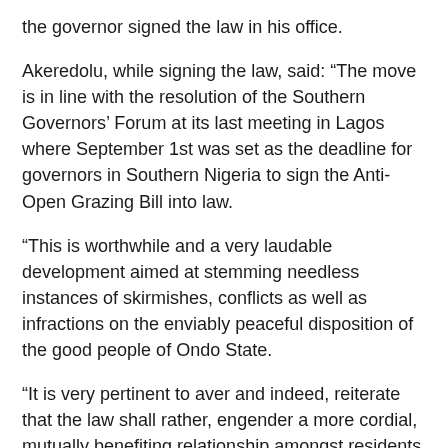the governor signed the law in his office.
Akeredolu, while signing the law, said: “The move is in line with the resolution of the Southern Governors’ Forum at its last meeting in Lagos where September 1st was set as the deadline for governors in Southern Nigeria to sign the Anti-Open Grazing Bill into law.
“This is worthwhile and a very laudable development aimed at stemming needless instances of skirmishes, conflicts as well as infractions on the enviably peaceful disposition of the good people of Ondo State.
“It is very pertinent to aver and indeed, reiterate that the law shall rather, engender a more cordial, mutually benefiting relationship amongst residents of the state irrespective of ethnicity, religion or creed. For emphasis, no particular group of persons is the target.
“While it is the hope of government that all residents would